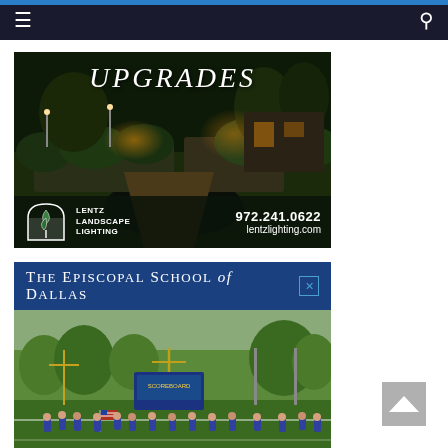Navigation bar with hamburger menu and search icon
[Figure (photo): Lentz Landscape Lighting advertisement showing night-lit garden landscape with text UPGRADES, logo, phone number 972.241.0622 and website lentzlighting.com]
[Figure (photo): The Episcopal School of Dallas advertisement showing school name banner in blue and photo of football field with players carrying American flag]